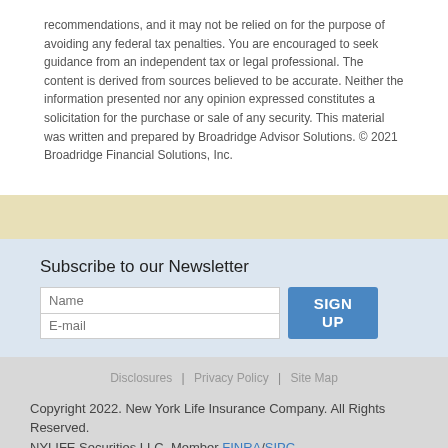recommendations, and it may not be relied on for the purpose of avoiding any federal tax penalties. You are encouraged to seek guidance from an independent tax or legal professional. The content is derived from sources believed to be accurate. Neither the information presented nor any opinion expressed constitutes a solicitation for the purchase or sale of any security. This material was written and prepared by Broadridge Advisor Solutions. © 2021 Broadridge Financial Solutions, Inc.
Subscribe to our Newsletter
Disclosures | Privacy Policy | Site Map
Copyright 2022. New York Life Insurance Company. All Rights Reserved. NYLIFE Securities LLC, Member FINRA/SIPC. For additional information, visit Customer Relationship Summary.pdf